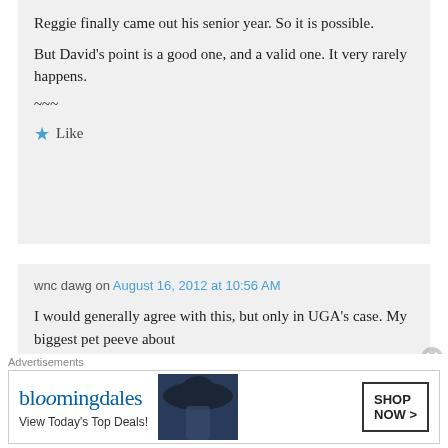Reggie finally came out his senior year. So it is possible.
But David's point is a good one, and a valid one. It very rarely happens.
~~~
★ Like
wnc dawg on August 16, 2012 at 10:56 AM
I would generally agree with this, but only in UGA's case. My biggest pet peeve about
Advertisements
[Figure (other): Bloomingdales advertisement banner: logo text 'bloomingdales', tagline 'View Today's Top Deals!', image of woman with wide-brim hat, and 'SHOP NOW >' button]